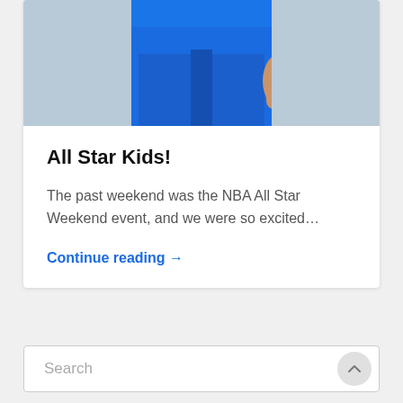[Figure (photo): Partial view of a person wearing blue pants/shorts, showing the lower torso and hand area against a light blue-grey background.]
All Star Kids!
The past weekend was the NBA All Star Weekend event, and we were so excited…
Continue reading →